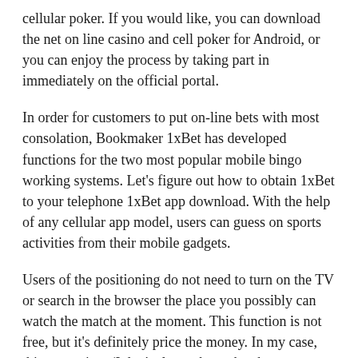cellular poker. If you would like, you can download the net on line casino and cell poker for Android, or you can enjoy the process by taking part in immediately on the official portal.
In order for customers to put on-line bets with most consolation, Bookmaker 1xBet has developed functions for the two most popular mobile bingo working systems. Let's figure out how to obtain 1xBet to your telephone 1xBet app download. With the help of any cellular app model, users can guess on sports activities from their mobile gadgets.
Users of the positioning do not need to turn on the TV or search in the browser the place you possibly can watch the match at the moment. This function is not free, but it's definitely price the money. In my case, this saves time (I don't always have the chance to search for the place the broadcast is).
It main aim is to provide the best customers' expertise